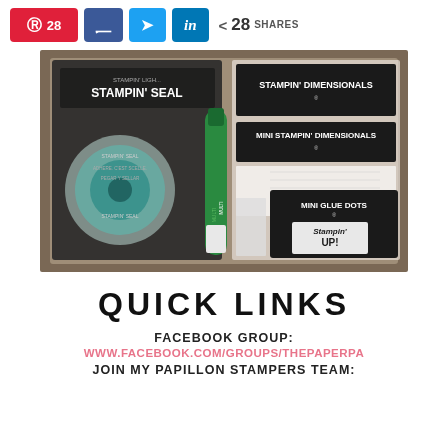[Figure (infographic): Social share bar with Pinterest (28), Facebook, Twitter, LinkedIn buttons and total 28 SHARES count]
[Figure (photo): Photo of Stampin' Up! adhesive products: Stampin' Seal roll, Stampin' Dimensionals, Mini Stampin' Dimensionals, Mini Glue Dots box, and a green multi adhesive pen, all on a table]
QUICK LINKS
FACEBOOK GROUP:
WWW.FACEBOOK.COM/GROUPS/THEPAPERPA
JOIN MY PAPILLON STAMPERS TEAM: